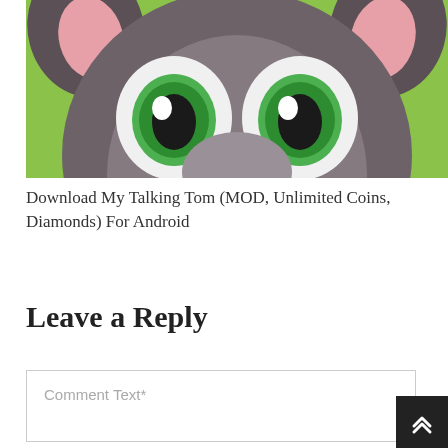[Figure (illustration): Cartoon cat character (My Talking Tom) with large green eyes, grey fur, pink ears, on a green/yellow-green background. Only the top half of the face is visible, showing the forehead, eyes, and ears.]
Download My Talking Tom (MOD, Unlimited Coins, Diamonds) For Android
Leave a Reply
Comment Text*